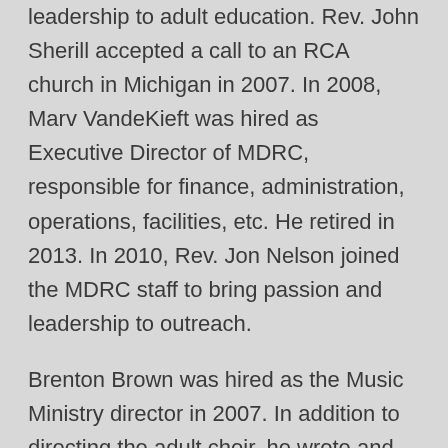leadership to adult education. Rev. John Sherill accepted a call to an RCA church in Michigan in 2007. In 2008, Marv VandeKieft was hired as Executive Director of MDRC, responsible for finance, administration, operations, facilities, etc. He retired in 2013. In 2010, Rev. Jon Nelson joined the MDRC staff to bring passion and leadership to outreach.
Brenton Brown was hired as the Music Ministry director in 2007. In addition to directing the adult choir, he wrote and directed several musicals that were presented at The Bridge. In 2013 Brenton transitioned into the Executive Director position to manage the budget and facilities as well as continuing his work in the music director until 2018 when he focused only on budget and facilities.